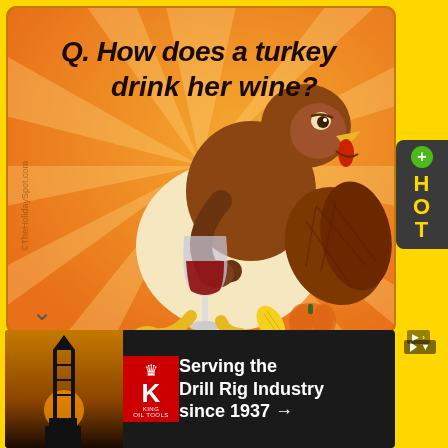[Figure (illustration): Cartoon turkey character holding a glass of red wine on an orange sunburst background. Text at top reads 'Q. How does a turkey drink her wine?' Watermark reads '©TheHolidaySpot.com'. The cartoon turkey is anthropomorphized, looking relaxed with large belly, brown feathers, yellow beak, holding a wine glass. Thanksgiving-themed decorations at bottom (corn, pumpkin).]
Q. How does a turkey drink her wine?
[Figure (logo): HOT button on right side — dark gray rounded rectangle pill with green plus circle at top and 'HOT' text in yellow below]
[Figure (other): Chevron/down-arrow symbol indicating scroll or navigation]
[Figure (other): Advertisement banner for King Oil Tools. Dark background with drill rig photo on left, red King Oil Tools logo with crown in center, white text reading 'Serving the Drill Rig Industry since 1937 →' on right. Skip ad button at top right.]
Serving the Drill Rig Industry since 1937 →